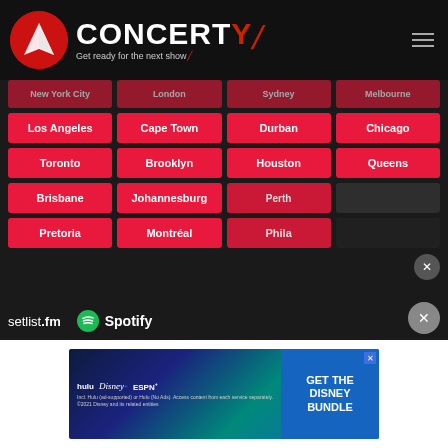[Figure (screenshot): Concerty website screenshot showing logo header with 'CONCERTY - Get ready for the next show' and a grid of city buttons including New York City, London, Sydney, Melbourne, Los Angeles, Cape Town, Durban, Chicago, Toronto, Brooklyn, Houston, Queens, Brisbane, Johannesburg, Perth (partial), another city (partial), Pretoria, Montréal, Phila (partial). Also shows setlist.fm and Spotify partner logos.]
[Figure (screenshot): Disney Bundle advertisement banner showing Hulu, Disney+, ESPN+ logos and 'GET THE DISNEY BUNDLE' call to action with fine print about Hulu ad-supported and No Ads options.]